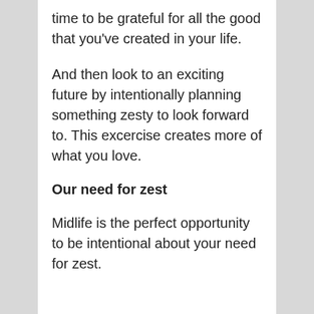time to be grateful for all the good that you've created in your life.
And then look to an exciting future by intentionally planning something zesty to look forward to. This excercise creates more of what you love.
Our need for zest
Midlife is the perfect opportunity to be intentional about your need for zest.